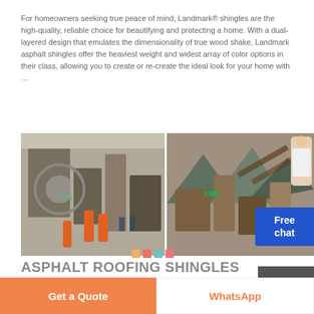For homeowners seeking true peace of mind, Landmark® shingles are the high-quality, reliable choice for beautifying and protecting a home. With a dual-layered design that emulates the dimensionality of true wood shake, Landmark asphalt shingles offer the heaviest weight and widest array of color options in their class, allowing you to create or re-create the ideal look for your home with …
[Figure (photo): Two factory/manufacturing site photos side by side with XME watermark logos, showing industrial equipment and outdoor quarry/processing facility with mountains in background. A woman in white clothing appears in the top right corner near a blue 'Free chat' button.]
ASPHALT ROOFING SHINGLES MARKET SIZE 2021: IN-DEPTH …
Press Release Asphalt Roofing Shingles Market Size 2021: In-Depth Manufacturers Analysis, Developments, Future Investments, Opportunities and Challenge, …
[Figure (photo): Two photos of industrial/construction sites showing steel structures and building interiors.]
Get a Quote
WhatsApp